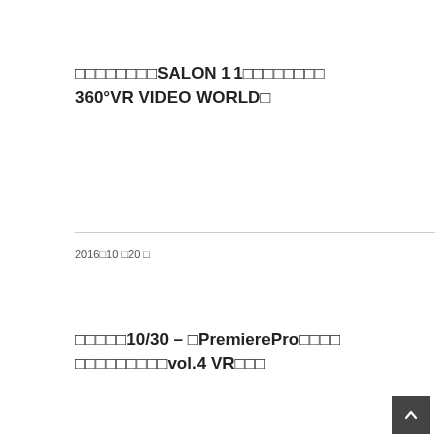□□□□□□□□SALON 11□□□□□□□□ 360°VR VIDEO WORLD□
2016□10 □20 □
□□□□□10/30 — □PremierePro□□□□ □□□□□□□□□vol.4 VR□□□
2016□10 □10 □